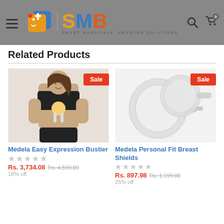SMB - Smart Hospitals. Smarter Solutions.
Related Products
[Figure (photo): Woman wearing a black tube top with Medela breast pump attached, with a red Sale badge overlay]
Medela Easy Expression Bustier
★☆☆☆☆ Rs. 3,734.08 Rs. 4,599.00 18% off
[Figure (photo): Two clear plastic Medela breast shields/flanges, with a red Sale badge overlay]
Medela Personal Fit Breast Shields
★☆☆☆☆ Rs. 897.98 Rs. 1,199.00 25% off